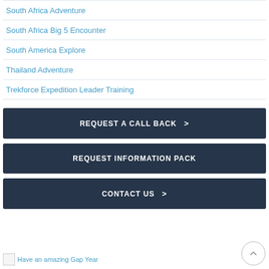South Africa Adventure
South Africa Big 5 Encounter
South America Explore
Thailand Adventure
Trekforce Expedition Leader Training
REQUEST A CALL BACK ›
REQUEST INFORMATION PACK
CONTACT US ›
Have an amazing Gap Year